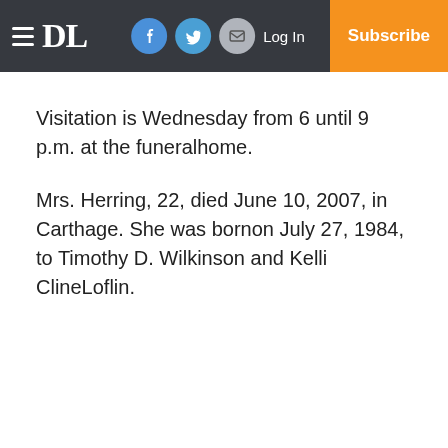DL | Log In | Subscribe
Visitation is Wednesday from 6 until 9 p.m. at the funeralhome.
Mrs. Herring, 22, died June 10, 2007, in Carthage. She was bornon July 27, 1984, to Timothy D. Wilkinson and Kelli ClineLoflin.